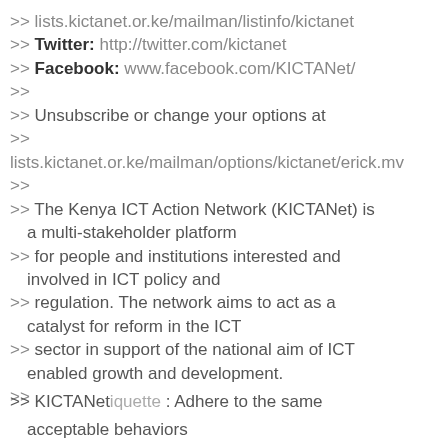>> lists.kictanet.or.ke/mailman/listinfo/kictanet
>> Twitter: http://twitter.com/kictanet
>> Facebook: www.facebook.com/KICTANet/
>>
>> Unsubscribe or change your options at
>>
lists.kictanet.or.ke/mailman/options/kictanet/erick.mv
>>
>> The Kenya ICT Action Network (KICTANet) is a multi-stakeholder platform
>> for people and institutions interested and involved in ICT policy and
>> regulation. The network aims to act as a catalyst for reform in the ICT
>> sector in support of the national aim of ICT enabled growth and development.
>>
>> KICTANet etiquette : Adhere to the same acceptable behaviors